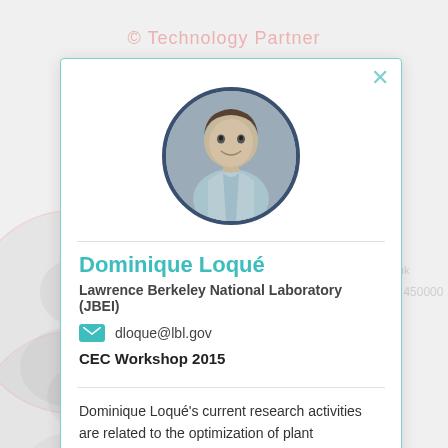[Figure (photo): Profile photo of Dominique Loqué in circular frame with dark border]
Dominique Loqué
Lawrence Berkeley National Laboratory (JBEI)
dloque@lbl.gov
CEC Workshop 2015
Dominique Loqué's current research activities are related to the optimization of plant development and biomass characteristics for